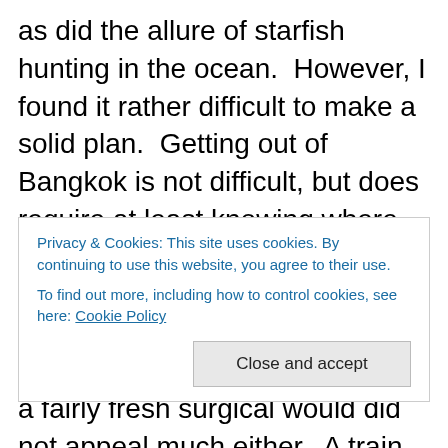as did the allure of starfish hunting in the ocean.  However, I found it rather difficult to make a solid plan.  Getting out of Bangkok is not difficult, but does require at least knowing where you are intending to head.  I did not particularly feel like taking a flight somewhere, and howfing my bags on and off of buses with a fairly fresh surgical would did not appeal much either.  A train journey would do the trick, though again I would to be clear about where I was heading and have accommodation sorted.  I also had an appointment with Dr P a week after the surgery so would need to be in town until then.  And
Privacy & Cookies: This site uses cookies. By continuing to use this website, you agree to their use.
To find out more, including how to control cookies, see here: Cookie Policy
Close and accept